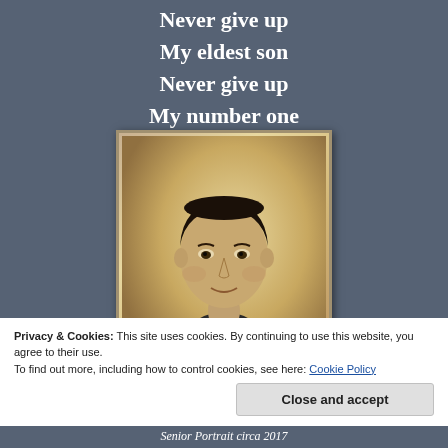Never give up
My eldest son
Never give up
My number one
[Figure (photo): Sepia-toned senior portrait photograph of a young man with short dark hair, wearing a dark jacket, circa 2017]
Privacy & Cookies: This site uses cookies. By continuing to use this website, you agree to their use.
To find out more, including how to control cookies, see here: Cookie Policy
Senior Portrait circa 2017